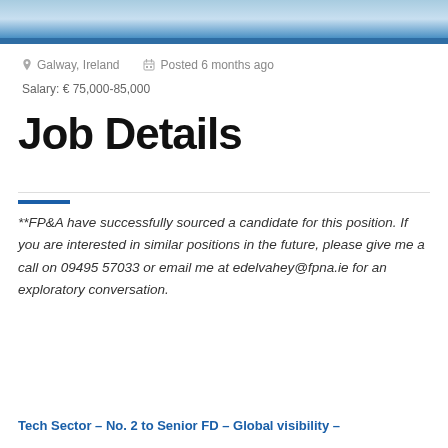[Figure (photo): Sky/cloud background header image with blue gradient]
Galway, Ireland   Posted 6 months ago
Salary: € 75,000-85,000
Job Details
**FP&A have successfully sourced a candidate for this position. If you are interested in similar positions in the future, please give me a call on 09495 57033 or email me at edelvahey@fpna.ie for an exploratory conversation.
Tech Sector – No. 2 to Senior FD – Global visibility –